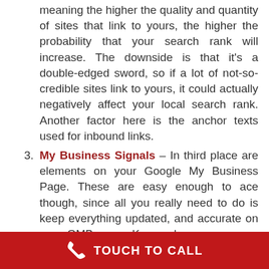meaning the higher the quality and quantity of sites that link to yours, the higher the probability that your search rank will increase. The downside is that it's a double-edged sword, so if a lot of not-so-credible sites link to yours, it could actually negatively affect your local search rank. Another factor here is the anchor texts used for inbound links.
My Business Signals – In third place are elements on your Google My Business Page. These are easy enough to ace though, since all you really need to do is keep everything updated, and accurate on your GMB page. Keyword usage on your GMB page may also contribute to your local search ranking.
Top 3 Tips for Local SEO
TOUCH TO CALL